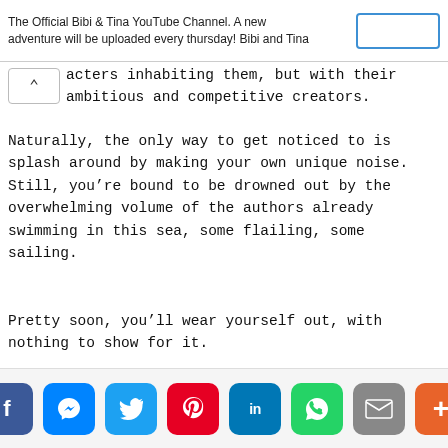The Official Bibi & Tina YouTube Channel. A new adventure will be uploaded every thursday! Bibi and Tina
acters inhabiting them, but with their ambitious and competitive creators.
Naturally, the only way to get noticed to is splash around by making your own unique noise. Still, you’re bound to be drowned out by the overwhelming volume of the authors already swimming in this sea, some flailing, some sailing.
Pretty soon, you’ll wear yourself out, with nothing to show for it.
Social share bar: Facebook, Messenger, Twitter, Pinterest, LinkedIn, WhatsApp, Email, More